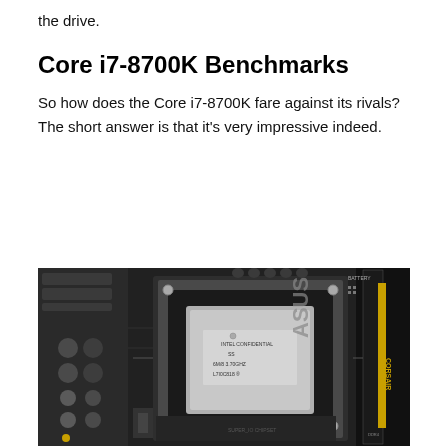the drive.
Core i7-8700K Benchmarks
So how does the Core i7-8700K fare against its rivals? The short answer is that it’s very impressive indeed.
[Figure (photo): Close-up photo of an Intel Core i7-8700K CPU seated in an ASUS motherboard socket, with Corsair Vengeance DDR4 RAM visible on the right side.]